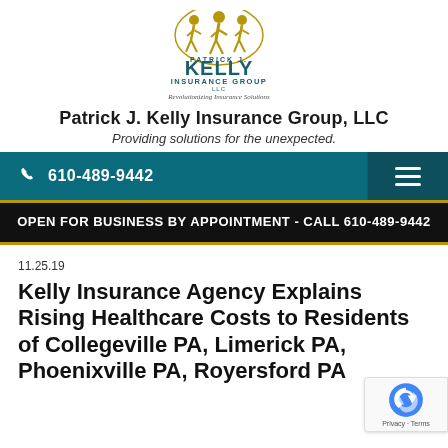[Figure (logo): Patrick J. Kelly Insurance Group LLC logo with three running figures in gold and teal text. Tagline: Revolutionizing Insurance Solutions]
Patrick J. Kelly Insurance Group, LLC
Providing solutions for the unexpected.
☎ 610-489-9442
OPEN FOR BUSINESS BY APPOINTMENT - CALL 610-489-9442
11.25.19
Kelly Insurance Agency Explains Rising Healthcare Costs to Residents of Collegeville PA, Limerick PA, Phoenixville PA, Royersford PA